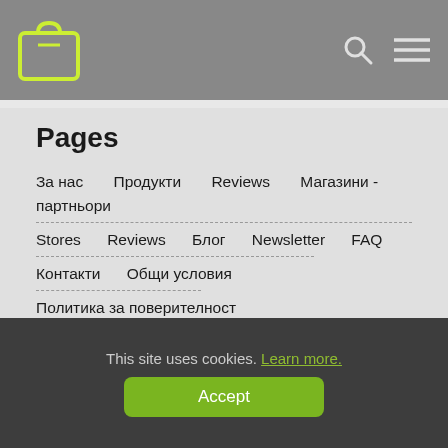Shopping site header with logo and navigation icons
Pages
За нас   Продукти   Reviews   Магазини - партньори
Stores   Reviews   Блог   Newsletter   FAQ
Контакти   Общи условия
Политика за поверителност
Информация за бисквитки   Доставка
Вход за клиенти
This site uses cookies. Learn more.
Accept